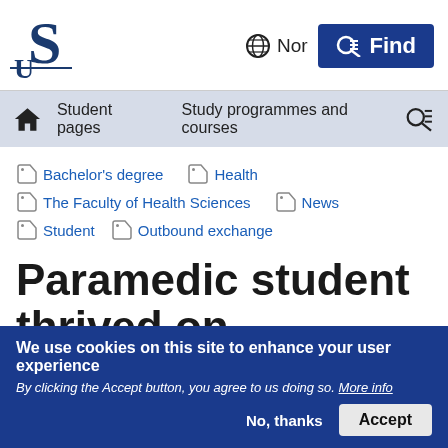[Figure (logo): University logo with stylized S and U letters in dark blue]
Nor  Find
Student pages  Study programmes and courses
Bachelor's degree
Health
The Faculty of Health Sciences
News
Student
Outbound exchange
Paramedic student thrived on exchange in
We use cookies on this site to enhance your user experience
By clicking the Accept button, you agree to us doing so. More info
No, thanks  Accept